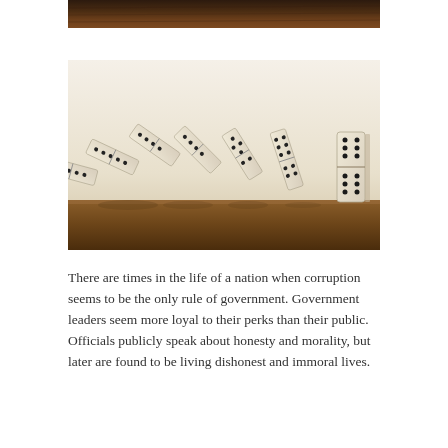[Figure (photo): Top portion of a wooden surface or panel — cropped photo showing a dark wood grain texture at the top of the page.]
[Figure (photo): A row of cream/ivory domino tiles falling in sequence on a wooden surface, photographed from a side angle. The dominoes are mid-fall, leaning into each other, with one standing upright on the far right.]
There are times in the life of a nation when corruption seems to be the only rule of government. Government leaders seem more loyal to their perks than their public. Officials publicly speak about honesty and morality, but later are found to be living dishonest and immoral lives.